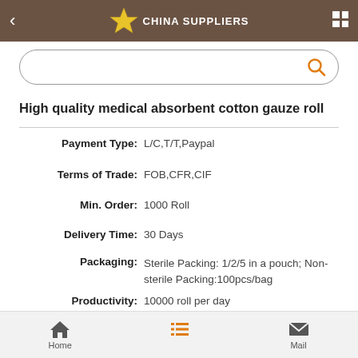CHINA SUPPLIERS
High quality medical absorbent cotton gauze roll
Payment Type: L/C,T/T,Paypal
Terms of Trade: FOB,CFR,CIF
Min. Order: 1000 Roll
Delivery Time: 30 Days
Packaging: Sterile Packing: 1/2/5 in a pouch; Non-sterile Packing:100pcs/bag
Productivity: 10000 roll per day
Brand: Yingmed; OEM is available.
Transportation: Ocean,Land,Air,Express
Home | Mail